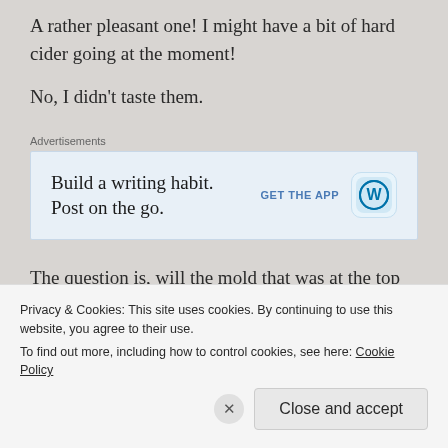A rather pleasant one! I might have a bit of hard cider going at the moment!
No, I didn't taste them.
[Figure (other): WordPress advertisement banner: 'Build a writing habit. Post on the go.' with GET THE APP button and WordPress logo]
The question is, will the mold that was at the top be a concern? Will the continued fermentation – which is really just controlled decomposition – eliminate any
Privacy & Cookies: This site uses cookies. By continuing to use this website, you agree to their use.
To find out more, including how to control cookies, see here: Cookie Policy
Close and accept